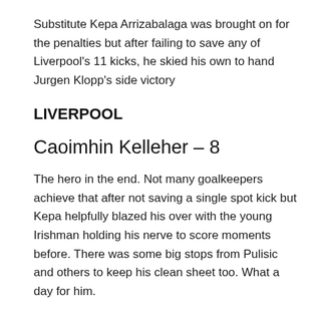Substitute Kepa Arrizabalaga was brought on for the penalties but after failing to save any of Liverpool's 11 kicks, he skied his own to hand Jurgen Klopp's side victory
LIVERPOOL
Caoimhin Kelleher – 8
The hero in the end. Not many goalkeepers achieve that after not saving a single spot kick but Kepa helpfully blazed his over with the young Irishman holding his nerve to score moments before. There was some big stops from Pulisic and others to keep his clean sheet too. What a day for him.
Trent Alexander-Arnold – 7
Was caught out a few times defensively and it could have